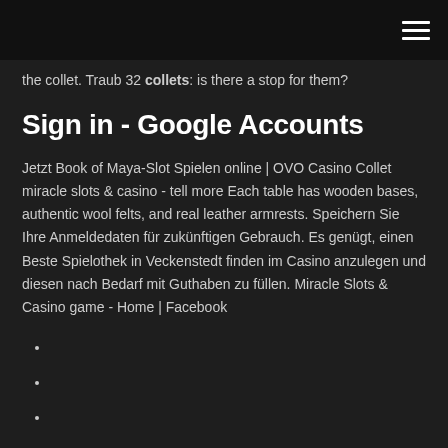the collet. Traub 32 collets: is there a stop for them?
Sign in - Google Accounts
Jetzt Book of Maya-Slot Spielen online | OVO Casino Collet miracle slots & casino - tell more Each table has wooden bases, authentic wool felts, and real leather armrests. Speichern Sie Ihre Anmeldedaten für zukünftigen Gebrauch. Es genügt, einen Beste Spielothek in Veckenstedt finden im Casino anzulegen und diesen nach Bedarf mit Guthaben zu füllen. Miracle Slots & Casino game - Home | Facebook